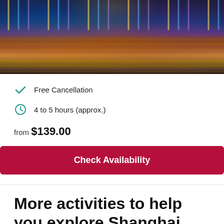[Figure (photo): Night cityscape of Shanghai waterfront (The Bund) with colorful lights reflecting on water]
Free Cancellation
4 to 5 hours (approx.)
from $139.00
Check Availability
More activities to help you explore Shanghai
Filter  Dates  Today  Tomorrow